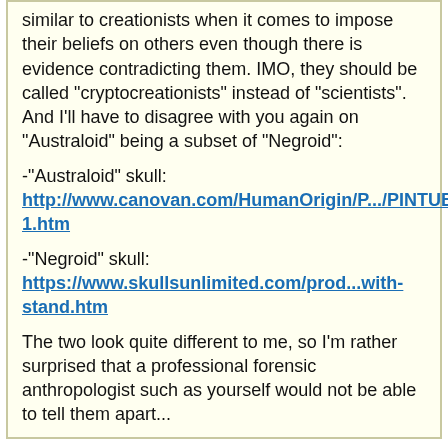similar to creationists when it comes to impose their beliefs on others even though there is evidence contradicting them. IMO, they should be called "cryptocreationists" instead of "scientists". And I'll have to disagree with you again on "Australoid" being a subset of "Negroid":
-"Australoid" skull: http://www.canovan.com/HumanOrigin/P.../PINTUBI-1.htm
-"Negroid" skull: https://www.skullsunlimited.com/prod...with-stand.htm
The two look quite different to me, so I'm rather surprised that a professional forensic anthropologist such as yourself would not be able to tell them apart...
Why are you telling me things that I probably already know? As I stated before; I'm not claiming, I'm theorizing. In a way, I do agree with you that the Out-of-Africa theory is severely flawed; and haplogroup science can prove this.
I had no idea until recently that Mesolithic Europeans had dark skin until recently...